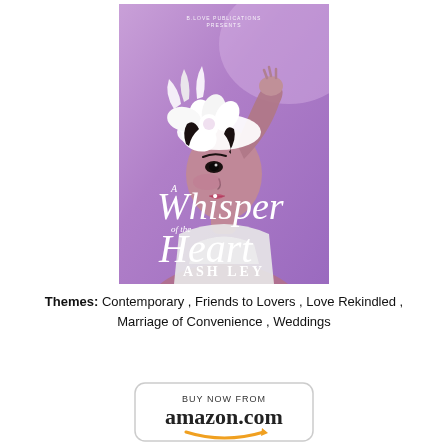[Figure (illustration): Book cover for 'A Whisper of the Heart' by Ash Ley. Purple/lavender background with a stylish Black woman wearing a white floral fascinator hat, touching her forehead. Large italic script text reads 'A Whisper of the Heart' in white. Bottom shows 'ASH LEY' in bold serif font. Small text at top reads 'B.LOVE PUBLICATIONS PRESENTS'.]
Themes:  Contemporary , Friends to Lovers , Love Rekindled , Marriage of Convenience , Weddings
[Figure (logo): Amazon.com 'BUY NOW FROM' button with rounded rectangle border. Text reads 'BUY NOW FROM' in small caps above 'amazon.com' in the Amazon logo style with orange arrow swoosh underneath.]